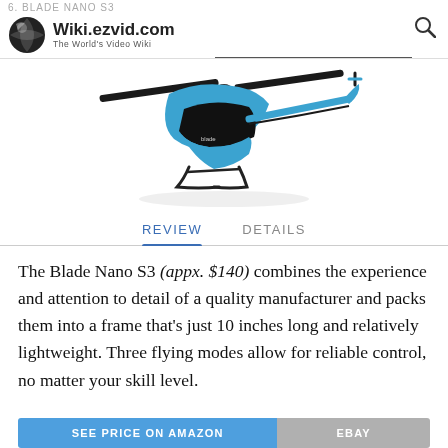Wiki.ezvid.com The World's Video Wiki
[Figure (photo): A blue and black Blade Nano S3 RC helicopter with a single main rotor and tail rotor, shown on a white background at an angle.]
REVIEW   DETAILS
The Blade Nano S3 (appx. $140) combines the experience and attention to detail of a quality manufacturer and packs them into a frame that's just 10 inches long and relatively lightweight. Three flying modes allow for reliable control, no matter your skill level.
SEE PRICE ON AMAZON   EBAY